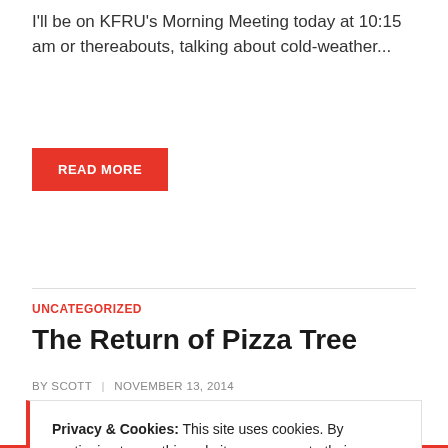I'll be on KFRU's Morning Meeting today at 10:15 am or thereabouts, talking about cold-weather...
READ MORE
UNCATEGORIZED
The Return of Pizza Tree
BY SCOTT | NOVEMBER 13, 2014
Privacy & Cookies: This site uses cookies. By continuing to use this website, you agree to their use.
To find out more, including how to control cookies, see here: Cookie Policy
CLOSE AND ACCEPT